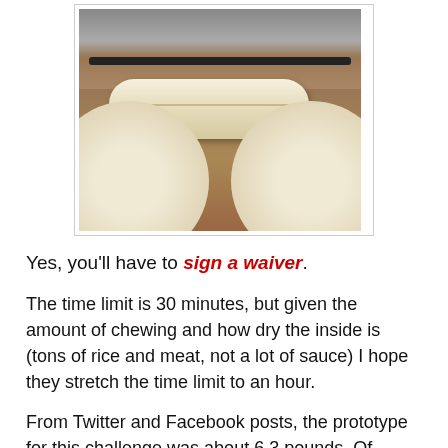[Figure (photo): A large burrito rolled in a tortilla sitting on a metal shelf or tray, with two large flat tortillas in the foreground, in what appears to be a restaurant kitchen area.]
Yes, you'll have to sign a waiver.
The time limit is 30 minutes, but given the amount of chewing and how dry the inside is (tons of rice and meat, not a lot of sauce) I hope they stretch the time limit to an hour.
From Twitter and Facebook posts, the prototype for this challenge was about 6.3 pounds. Of course, each burrito is